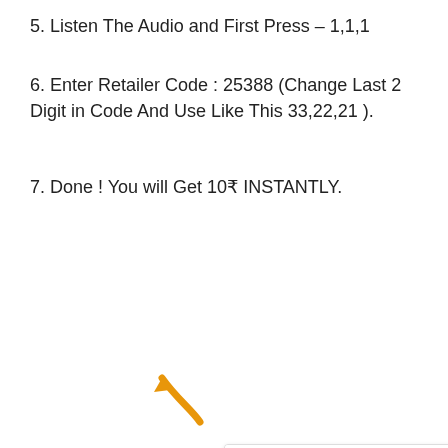5. Listen The Audio and First Press – 1,1,1
6. Enter Retailer Code : 25388 (Change Last 2 Digit in Code And Use Like This 33,22,21 ).
7. Done ! You will Get 10₹ INSTANTLY.
[Figure (screenshot): Mobile app screenshot showing cashback received of ₹10, dated 22 JAN 2022, 01:30 pm, Closing Balance: ₹59.02, with FROM label and an orange arrow annotation pointing upward, and a red CLOSE button in the bottom-right corner.]